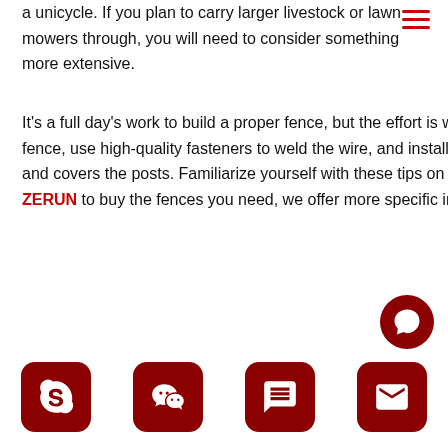a unicycle. If you plan to carry larger livestock or lawn mowers through, you will need to consider something more extensive.
It's a full day's work to build a proper fence, but the effort is worth it. Your fence will be strong if you plan it properly, bury the posts and fence, use high-quality fasteners to weld the wire, and install the rails. You should also make sure your barbed wire is stretched tight and covers the posts. Familiarize yourself with these tips on how to build welded wire fences, and you'll be ready for success. Contact ZERUN to buy the fences you need, we offer more specific installing metho...
[Figure (other): Hamburger/menu icon in top-right corner with three red horizontal lines]
[Figure (other): Dark red circular chat/messaging button with ellipsis (three dots) icon]
[Figure (other): Dark red circular scroll-to-top button with upward chevron arrow icon]
[Figure (other): Row of four dark red rounded square icon buttons at the bottom: Skype, WeChat, phone/chat, and email icons]